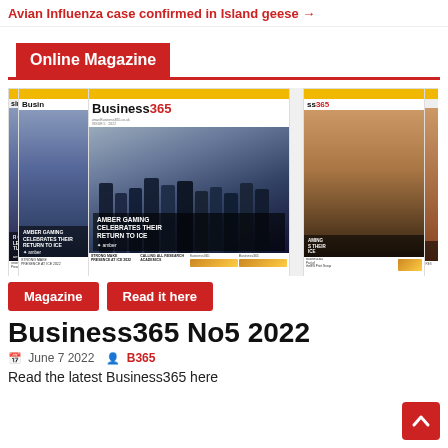Avian Influenza case confirmed in Island geese →
Online Magazine
[Figure (photo): Multiple overlapping covers of Business365 magazine showing a group of professionals on a staircase, with text 'AMBER GAMING CELEBRATES THEIR RETURN TO ICE' and the amber logo]
Magazine
Read it here
Business365 No5 2022
June 7 2022   B365
Read the latest Business365 here